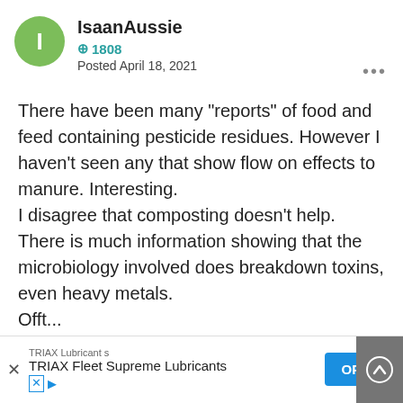IsaanAussie
⊕ 1808
Posted April 18, 2021
There have been many "reports" of food and feed containing pesticide residues. However I haven't seen any that show flow on effects to manure. Interesting.
I disagree that composting doesn't help. There is much information showing that the microbiology involved does breakdown toxins, even heavy metals.
[Figure (screenshot): Advertisement banner for TRIAX Fleet Supreme Lubricants with OPEN button and upload arrow button]